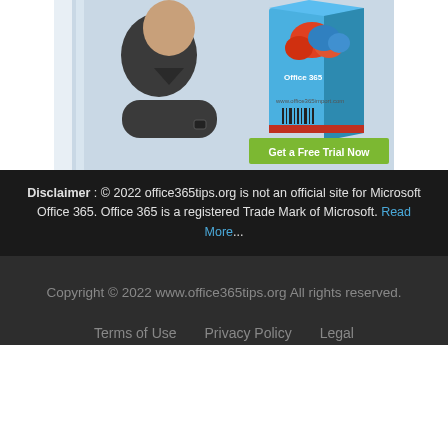[Figure (photo): Advertisement image showing a man with arms crossed next to an Office 365 software box with a 'Get a Free Trial Now' green button. Website www.office365import.com shown on box.]
Disclaimer : © 2022 office365tips.org is not an official site for Microsoft Office 365. Office 365 is a registered Trade Mark of Microsoft. Read More...
Copyright © 2022 www.office365tips.org All rights reserved.
Terms of Use   Privacy Policy   Legal